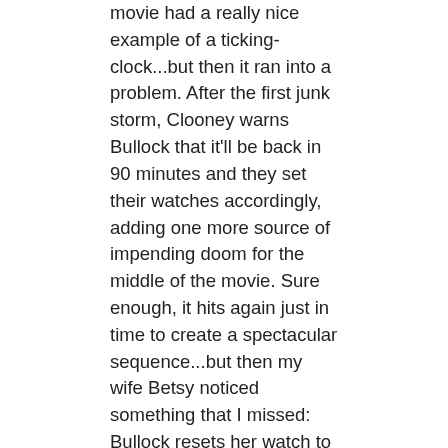movie had a really nice example of a ticking-clock...but then it ran into a problem. After the first junk storm, Clooney warns Bullock that it'll be back in 90 minutes and they set their watches accordingly, adding one more source of impending doom for the middle of the movie. Sure enough, it hits again just in time to create a spectacular sequence...but then my wife Betsy noticed something that I missed: Bullock resets her watch to 90 again...but this had the opposite effect the second time: Betsy found herself relaxing, sure that nothing bad would happen until that second wave hit. Why did the effect flip? When they set their watches the first time, that meant that at least one of them would last 90 minutes, but we could still worry about the other (with good reason, as it turned out). But once Clooney was dead and Bullock was alone, and the movie foreshadowed another storm in another 90 minutes, then it had the opposite effect, because we only had one character left